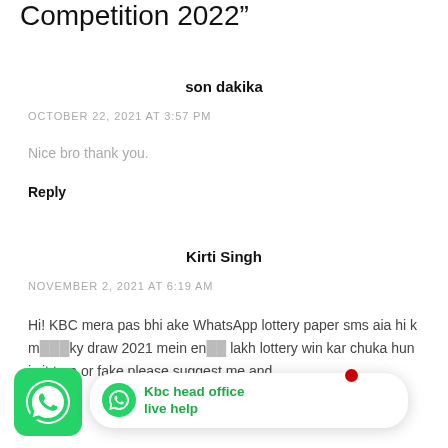Competition 2022”
son dakika
OCTOBER 22, 2021 AT 3:57 PM
Nice bro thank you.
Reply
Kirti Singh
NOVEMBER 2, 2021 AT 6:19 AM
Hi! KBC mera pas bhi ake WhatsApp lottery paper sms aia hi k m… ky draw 2021 mein en… lakh lottery win kar chuka hun is it true or fake please suggest me and
[Figure (screenshot): WhatsApp icon (green rounded square) on bottom left, with a popup bubble showing a WhatsApp logo and text 'Kbc head office live help' in green bold font, and a red dot notification indicator.]